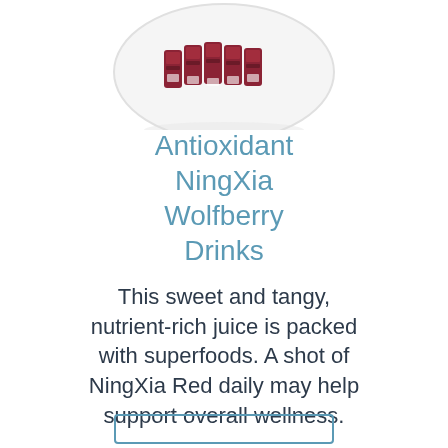[Figure (photo): Product photo of NingXia Red wolfberry drink packets arranged in a circular white dish, shown at top of page]
Antioxidant NingXia Wolfberry Drinks
This sweet and tangy, nutrient-rich juice is packed with superfoods. A shot of NingXia Red daily may help support overall wellness.